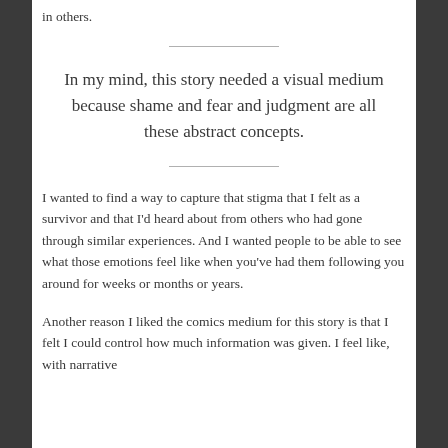in others.
In my mind, this story needed a visual medium because shame and fear and judgment are all these abstract concepts.
I wanted to find a way to capture that stigma that I felt as a survivor and that I'd heard about from others who had gone through similar experiences. And I wanted people to be able to see what those emotions feel like when you've had them following you around for weeks or months or years.
Another reason I liked the comics medium for this story is that I felt I could control how much information was given. I feel like, with narrative